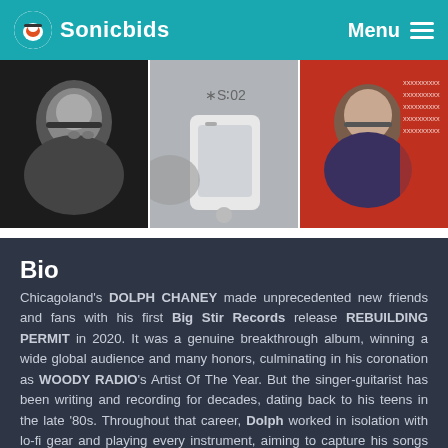Sonicbids  Menu
[Figure (photo): Three photos of a man with glasses and grey beard: left is black-and-white portrait, center shows hands holding a phone/device, right is a color portrait against red background with text overlay]
Bio
Chicagoland's DOLPH CHANEY made unprecedented new friends and fans with his first Big Stir Records release REBUILDING PERMIT in 2020. It was a genuine breakthrough album, winning a wide global audience and many honors, culminating in his coronation as WOODY RADIO's Artist Of The Year. But the singer-guitarist has been writing and recording for decades, dating back to his teens in the late '80s. Throughout that career, Dolph worked in isolation with lo-fi gear and playing every instrument, aiming to capture his songs quickly and intuitively, then move to the next. It's an